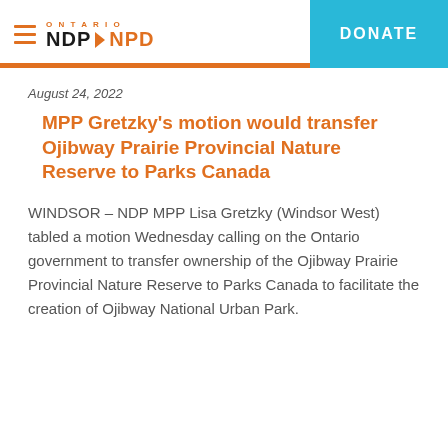Ontario NDP NPD | DONATE
August 24, 2022
MPP Gretzky's motion would transfer Ojibway Prairie Provincial Nature Reserve to Parks Canada
WINDSOR – NDP MPP Lisa Gretzky (Windsor West) tabled a motion Wednesday calling on the Ontario government to transfer ownership of the Ojibway Prairie Provincial Nature Reserve to Parks Canada to facilitate the creation of Ojibway National Urban Park.